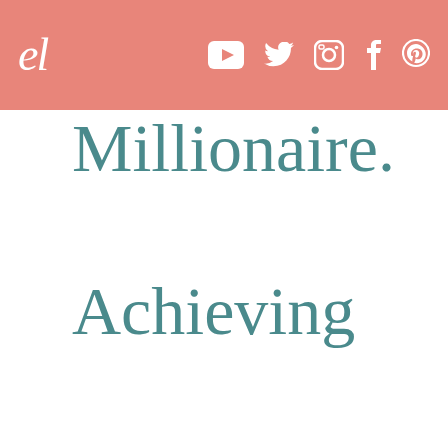[Figure (logo): Header bar with cursive 'el' logo and social media icons (YouTube, Twitter, Instagram, Facebook, Pinterest) on salmon/coral pink background]
Millionaire. Achieving Anything You See Possible For You"